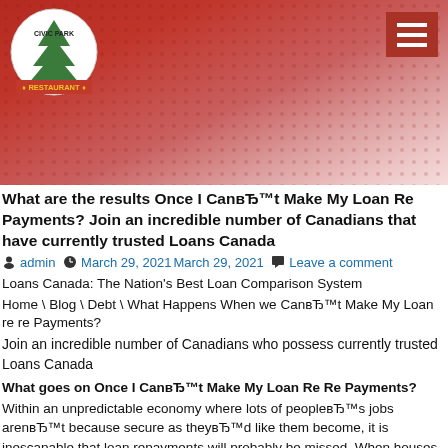[Figure (logo): Civic Park Family Restaurant logo — circular badge with trees and text, red and green colors]
What are the results Once I CanвЂ™t Make My Loan Re Payments? Join an incredible number of Canadians that have currently trusted Loans Canada
admin  March 29, 2021March 29, 2021  Leave a comment
Loans Canada: The Nation's Best Loan Comparison System
Home \ Blog \ Debt \ What Happens When we CanвЂ™t Make My Loan re re Payments?
Join an incredible number of Canadians who possess currently trusted Loans Canada
What goes on Once I CanвЂ™t Make My Loan Re Re Payments?
Within an unpredictable economy where lots of peopleвЂ™s jobs arenвЂ™t because secure as theyвЂ™d like them become, it is inescapable that loan repayments will probably be missed. When houses are depreciating in value, salaries are now being cut, jobs are now being